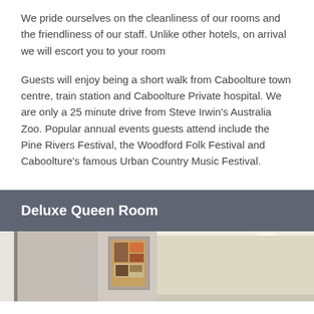We pride ourselves on the cleanliness of our rooms and the friendliness of our staff. Unlike other hotels, on arrival we will escort you to your room
Guests will enjoy being a short walk from Caboolture town centre, train station and Caboolture Private hospital. We are only a 25 minute drive from Steve Irwin's Australia Zoo. Popular annual events guests attend include the Pine Rivers Festival, the Woodford Folk Festival and Caboolture's famous Urban Country Music Festival.
Deluxe Queen Room
[Figure (photo): Photo of a hotel room interior showing artwork on the wall and a room with light-colored walls.]